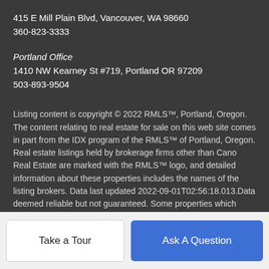415 E Mill Plain Blvd, Vancouver, WA 98660
360-823-3333
Portland Office
1410 NW Kearney St #719, Portland OR 97209
503-893-9504
Listing content is copyright © 2022 RMLS™, Portland, Oregon. The content relating to real estate for sale on this web site comes in part from the IDX program of the RMLS™ of Portland, Oregon. Real estate listings held by brokerage firms other than Cano Real Estate are marked with the RMLS™ logo, and detailed information about these properties includes the names of the listing brokers. Data last updated 2022-09-01T02:56:18.013.Data deemed reliable but not guaranteed. Some properties which appear for sale on this web site may subsequently have sold or may no longer be available. Some properties which appear for sale on this web site may subsequently have sold or may no longer be
Take a Tour
Ask A Question